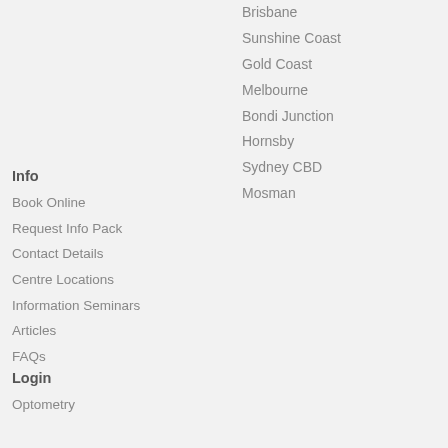Brisbane
Sunshine Coast
Gold Coast
Melbourne
Bondi Junction
Hornsby
Sydney CBD
Mosman
Info
Book Online
Request Info Pack
Contact Details
Centre Locations
Information Seminars
Articles
FAQs
Login
Optometry